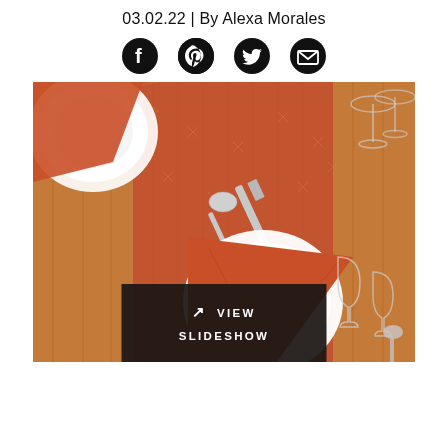03.02.22 | By Alexa Morales
[Figure (other): Social media share icons: Facebook, Pinterest, Twitter, Email]
[Figure (photo): Overhead view of a table setting with orange/terracotta napkins and table runner, white plates, silver cutlery, and wine glasses on a wooden table]
VIEW SLIDESHOW